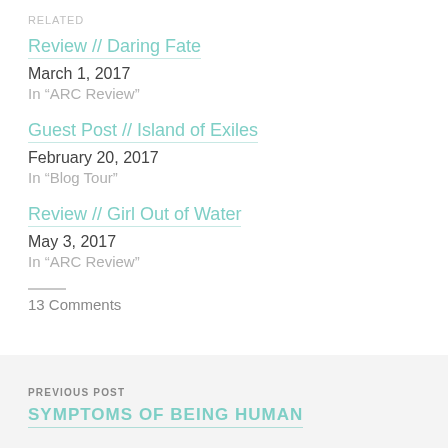RELATED
Review // Daring Fate
March 1, 2017
In "ARC Review"
Guest Post // Island of Exiles
February 20, 2017
In "Blog Tour"
Review // Girl Out of Water
May 3, 2017
In "ARC Review"
13 Comments
PREVIOUS POST
SYMPTOMS OF BEING HUMAN